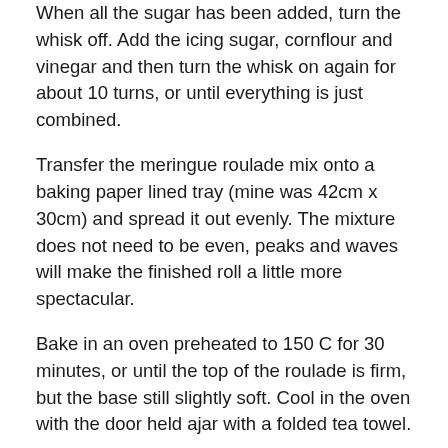When all the sugar has been added, turn the whisk off. Add the icing sugar, cornflour and vinegar and then turn the whisk on again for about 10 turns, or until everything is just combined.
Transfer the meringue roulade mix onto a baking paper lined tray (mine was 42cm x 30cm) and spread it out evenly. The mixture does not need to be even, peaks and waves will make the finished roll a little more spectacular.
Bake in an oven preheated to 150 C for 30 minutes, or until the top of the roulade is firm, but the base still slightly soft. Cool in the oven with the door held ajar with a folded tea towel.
When the roulade is cool, which will probably take a few hours, lay a clean tea towel on a work surface. On top of this lay a piece of cling wrap. Now invert